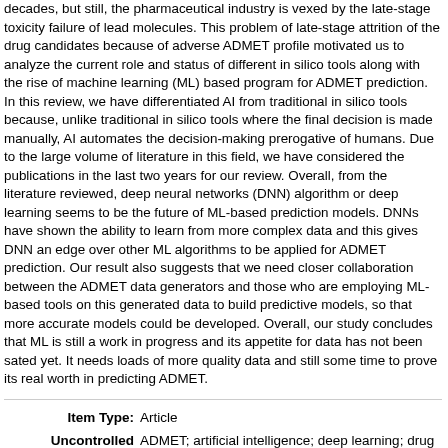decades, but still, the pharmaceutical industry is vexed by the late-stage toxicity failure of lead molecules. This problem of late-stage attrition of the drug candidates because of adverse ADMET profile motivated us to analyze the current role and status of different in silico tools along with the rise of machine learning (ML) based program for ADMET prediction. In this review, we have differentiated AI from traditional in silico tools because, unlike traditional in silico tools where the final decision is made manually, AI automates the decision-making prerogative of humans. Due to the large volume of literature in this field, we have considered the publications in the last two years for our review. Overall, from the literature reviewed, deep neural networks (DNN) algorithm or deep learning seems to be the future of ML-based prediction models. DNNs have shown the ability to learn from more complex data and this gives DNN an edge over other ML algorithms to be applied for ADMET prediction. Our result also suggests that we need closer collaboration between the ADMET data generators and those who are employing ML-based tools on this generated data to build predictive models, so that more accurate models could be developed. Overall, our study concludes that ML is still a work in progress and its appetite for data has not been sated yet. It needs loads of more quality data and still some time to prove its real worth in predicting ADMET.
| Field | Value |
| --- | --- |
| Item Type: | Article |
| Uncontrolled Keywords: | ADMET; artificial intelligence; deep learning; drug discovery; in silico; machine learning. |
| Subjects: | Pharmacy > MCOPS Manipal > Pharmaceutical Chemistry |
| Depositing User: | KMC Library |
| Date Deposited: | 25 Aug 2020 04 04 |